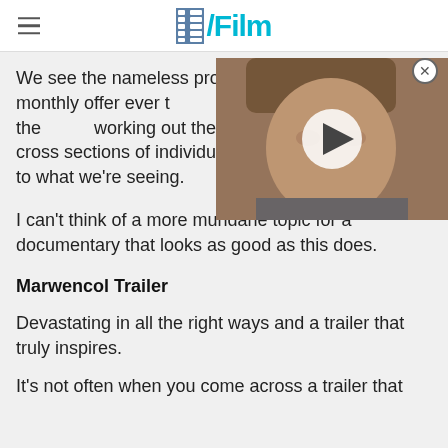/Film
[Figure (photo): Video thumbnail showing a young boy with bowl-cut hair, with a play button overlay, partially covering the article text]
We see the nameless propr... easiest monthly offer ever t... and we gander more at the ... working out there. From you... guys these cross sections of individuals provide a slight context to what we're seeing.
I can't think of a more mundane topic for a documentary that looks as good as this does.
Marwencol Trailer
Devastating in all the right ways and a trailer that truly inspires.
It's not often when you come across a trailer that